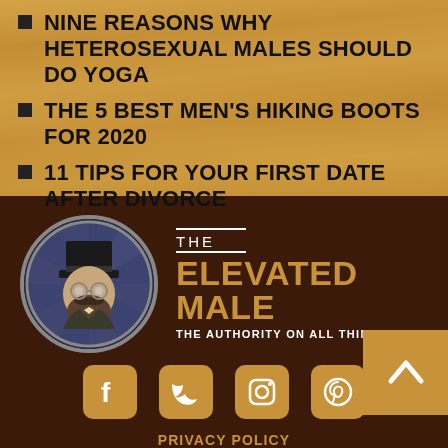NINE REASONS WHY HETEROSEXUAL MALES SHOULD DO YOGA
THE 5 BEST MEN'S HIKING BOOTS FOR 2020
11 TIPS FOR YOUR FIRST DATE AFTER DIVORCE
[Figure (logo): The Elevated Male logo: circular illustration of a man in top hat and glasses, with text 'THE ELEVATED MALE - THE AUTHORITY ON ALL THINGS MALE']
[Figure (infographic): Social media icons: Facebook, Twitter, Instagram, Pinterest on orange rounded square backgrounds]
PRIVACY POLICY